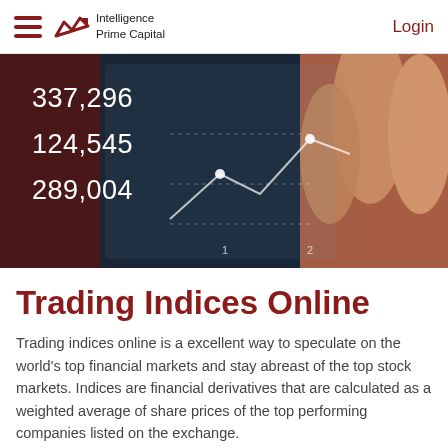Intelligence Prime Capital | Login
[Figure (photo): Hero image showing fingers touching a transparent digital screen displaying financial index numbers 337,296 / 124,545 / 289,004 with a line chart overlay]
Trading Indices Online
Trading indices online is a excellent way to speculate on the world's top financial markets and stay abreast of the top stock markets. Indices are financial derivatives that are calculated as a weighted average of share prices of the top performing companies listed on the exchange.